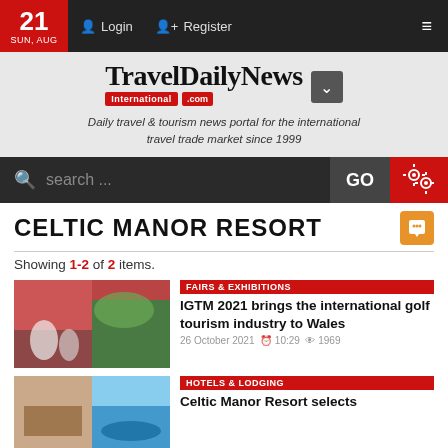21 SUN, AUG | Login | Register
[Figure (logo): TravelDailyNews International .com logo with red badge and chevron dropdown]
Daily travel & tourism news portal for the international travel trade market since 1999
search ...  GO
CELTIC MANOR RESORT
Showing 1-2 of 2 items.
[Figure (photo): Conference/exhibition photo with people at a booth]
FAIRS & EXHIBITIONS
IGTM 2021 brings the international golf tourism industry to Wales
26 October 2021  10:29  1969
[Figure (photo): Two-panel thumbnail: hotel interior and aerial resort view]
HOTELS & LODGING
Celtic Manor Resort selects